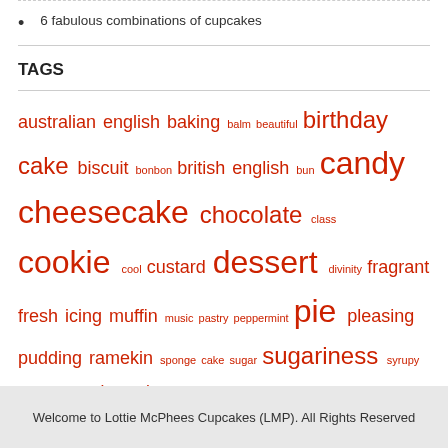6 fabulous combinations of cupcakes
TAGS
australian english baking balm beautiful birthday cake biscuit bonbon british english bun candy cheesecake chocolate class cookie cool custard dessert divinity fragrant fresh icing muffin music pastry peppermint pie pleasing pudding ramekin sponge cake sugar sugariness syrupy taste tasty toast treating yeah
Welcome to Lottie McPhees Cupcakes (LMP). All Rights Reserved